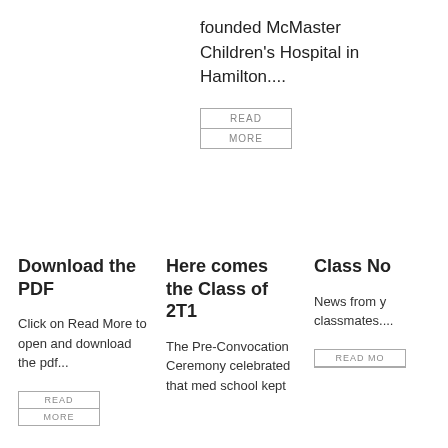founded McMaster Children's Hospital in Hamilton....
READ MORE
Download the PDF
Click on Read More to open and download the pdf...
READ MORE
Here comes the Class of 2T1
The Pre-Convocation Ceremony celebrated that med school kept
Class No
News from y classmates....
READ MO